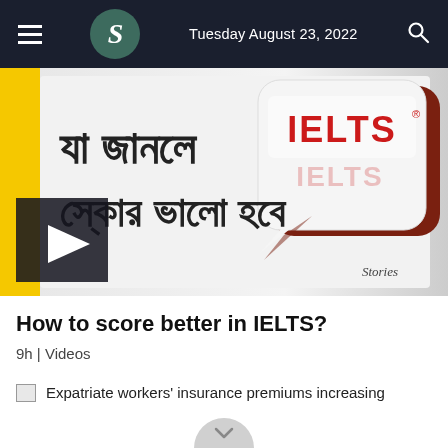Tuesday August 23, 2022
[Figure (screenshot): Video thumbnail showing Bengali text meaning 'What you know will improve your score' with IELTS logo and Stories branding, with a video play button overlay]
How to score better in IELTS?
9h | Videos
Expatriate workers' insurance premiums increasing